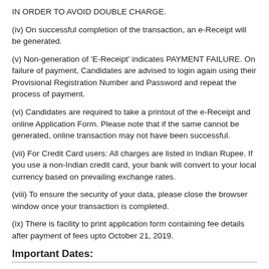IN ORDER TO AVOID DOUBLE CHARGE.
(iv) On successful completion of the transaction, an e-Receipt will be generated.
(v) Non-generation of 'E-Receipt' indicates PAYMENT FAILURE. On failure of payment, Candidates are advised to login again using their Provisional Registration Number and Password and repeat the process of payment.
(vi) Candidates are required to take a printout of the e-Receipt and online Application Form. Please note that if the same cannot be generated, online transaction may not have been successful.
(vii) For Credit Card users: All charges are listed in Indian Rupee. If you use a non-Indian credit card, your bank will convert to your local currency based on prevailing exchange rates.
(viii) To ensure the security of your data, please close the browser window once your transaction is completed.
(ix) There is facility to print application form containing fee details after payment of fees upto October 21, 2019.
Important Dates: